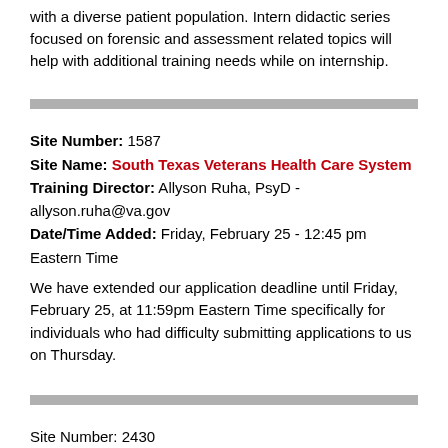with a diverse patient population. Intern didactic series focused on forensic and assessment related topics will help with additional training needs while on internship.
Site Number: 1587
Site Name: South Texas Veterans Health Care System
Training Director: Allyson Ruha, PsyD - allyson.ruha@va.gov
Date/Time Added: Friday, February 25 - 12:45 pm Eastern Time
We have extended our application deadline until Friday, February 25, at 11:59pm Eastern Time specifically for individuals who had difficulty submitting applications to us on Thursday.
Site Number: 2430